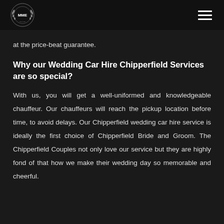MME logo and navigation menu
at the price-beat guarantee.
Why our Wedding Car Hire Chipperfield Services are so special?
With us, you will get a well-uniformed and knowledgeable chauffeur. Our chauffeurs will reach the pickup location before time, to avoid delays. Our Chipperfield wedding car hire service is ideally the first choice of Chipperfield Bride and Groom. The Chipperfield Couples not only love our service but they are highly fond of that how we make their wedding day so memorable and cheerful.